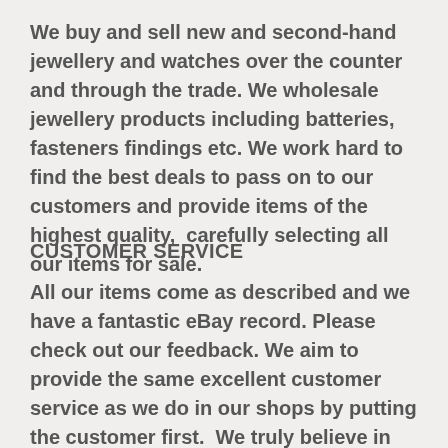We buy and sell new and second-hand jewellery and watches over the counter and through the trade. We wholesale jewellery products including batteries, fasteners findings etc. We work hard to find the best deals to pass on to our customers and provide items of the highest quality,  carefully selecting all our items for sale.
CUSTOMER SERVICE
All our items come as described and we have a fantastic eBay record. Please check out our feedback. We aim to provide the same excellent customer service as we do in our shops by putting the customer first.  We truly believe in the value of customer service and rely so much on our feedback and positive comments. Pl...